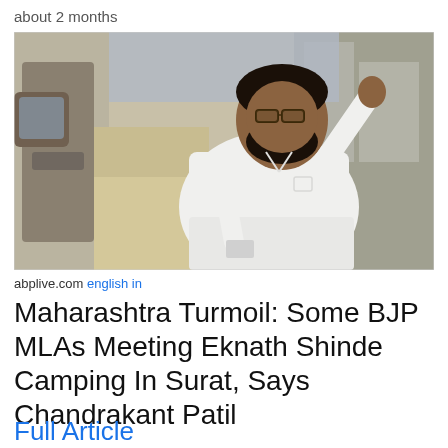about 2 months
[Figure (photo): A man in white clothing sitting in the open door of a white car, wearing glasses, with one hand raised. The photo appears to be taken outdoors near buildings.]
abplive.com english in
Maharashtra Turmoil: Some BJP MLAs Meeting Eknath Shinde Camping In Surat, Says Chandrakant Patil
Full Article